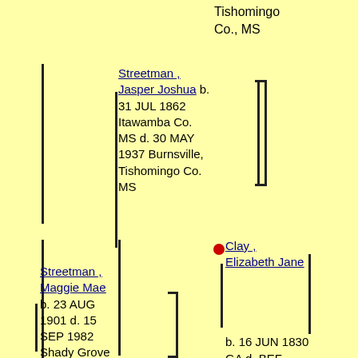Tishomingo Co., MS
Streetman , Jasper Joshua b. 31 JUL 1862 Itawamba Co. MS d. 30 MAY 1937 Burnsville, Tishomingo Co. MS
Clay , Elizabeth Jane b. 16 JUN 1830 GA d. BEF 1910 Burnsville, Tishomingo Co. MS
Streetman , Maggie Mae b. 23 AUG 1901 d. 15 SEP 1982 Shady Grove Baptist Church